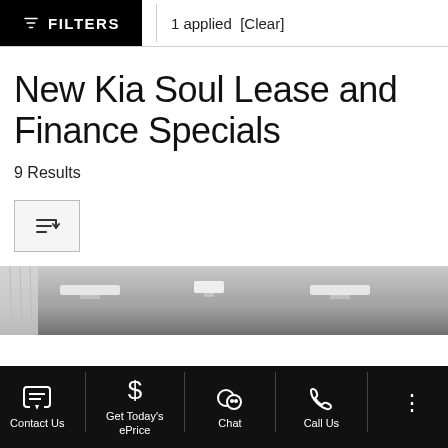FILTERS | 1 applied [Clear]
New Kia Soul Lease and Finance Specials
9 Results
[Figure (screenshot): Sort button with descending sort icon]
[Figure (photo): Interior of a car dealership showroom with overhead lighting]
Contact Us | Get Today's ePrice | Chat | Call Us | More